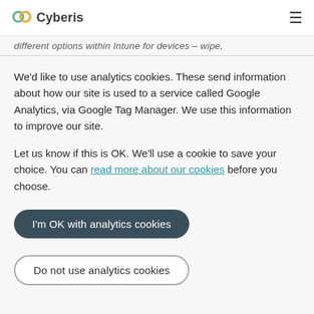Cyberis
different options within Intune for devices – wipe,
We'd like to use analytics cookies. These send information about how our site is used to a service called Google Analytics, via Google Tag Manager. We use this information to improve our site.
Let us know if this is OK. We'll use a cookie to save your choice. You can read more about our cookies before you choose.
I'm OK with analytics cookies
Do not use analytics cookies